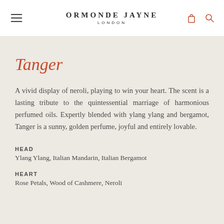ORMONDE JAYNE LONDON
Tanger
A vivid display of neroli, playing to win your heart. The scent is a lasting tribute to the quintessential marriage of harmonious perfumed oils. Expertly blended with ylang ylang and bergamot, Tanger is a sunny, golden perfume, joyful and entirely lovable.
HEAD
Ylang Ylang, Italian Mandarin, Italian Bergamot
HEART
Rose Petals, Wood of Cashmere, Neroli